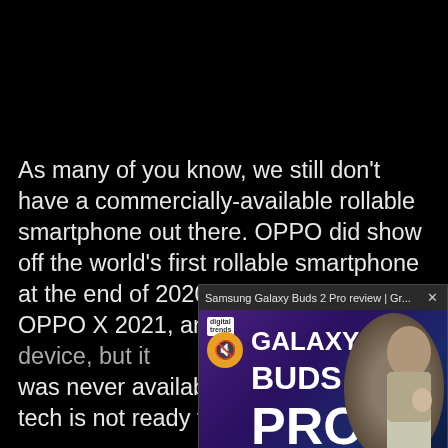[Figure (screenshot): Black background top portion of a webpage, upper ~155px is solid black]
As many of you know, we still don't have a commercially-available rollable smartphone out there. OPPO did show off the world's first rollable smartphone at the end of 2020. It was called the OPPO X 2021, and it was a functioning device, but it was never available t[o purchase] tech is not ready for p[roduction]
[Figure (screenshot): Popup video overlay showing Samsung Galaxy Buds 2 Pro review from Digital Trends, with purple/dark background, Galaxy Buds 2 Pro text, mute button (orange circle with mute icon), and a man holding a small purple earbud on the right side. Header bar shows 'Samsung Galaxy Buds 2 Pro review | Gr...' with an X close button.]
LG Mobile was suppo[sed to make a] commercially-availab[le rollable but LG] went under. LG decid[ed to close LG] Mobile, and shut dow[n]